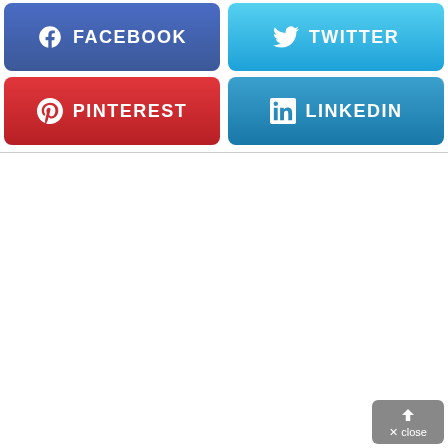[Figure (screenshot): Social media share buttons row 1: Facebook (blue gradient) and Twitter (light blue gradient) buttons side by side]
[Figure (screenshot): Social media share buttons row 2: Pinterest (red gradient) and LinkedIn (blue gradient) buttons side by side]
[Figure (screenshot): Close button with up-arrow icon at bottom right corner, dark grey background]